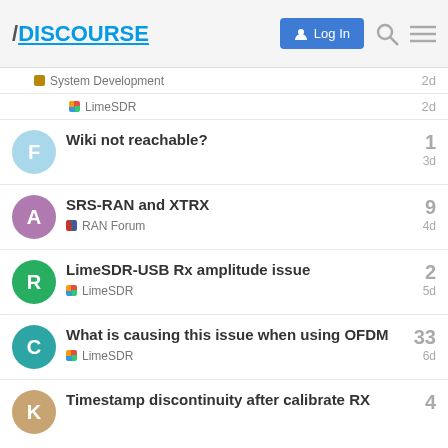/DISCOURSE Log In
System Development 2d
LimeSDR 2d
Wiki not reachable? 1 3d
SRS-RAN and XTRX 9 RAN Forum 4d
LimeSDR-USB Rx amplitude issue 2 LimeSDR 5d
What is causing this issue when using OFDM 33 LimeSDR 6d
Timestamp discontinuity after calibrate RX 4